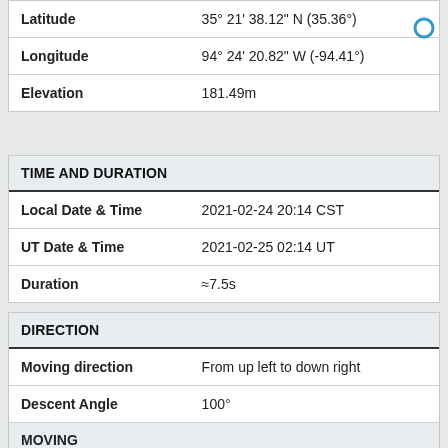| Field | Value |
| --- | --- |
| Latitude | 35° 21' 38.12" N (35.36°) |
| Longitude | 94° 24' 20.82" W (-94.41°) |
| Elevation | 181.49m |
| TIME AND DURATION |  |
| --- | --- |
| Local Date & Time | 2021-02-24 20:14 CST |
| UT Date & Time | 2021-02-25 02:14 UT |
| Duration | ≈7.5s |
| DIRECTION |  |
| --- | --- |
| Moving direction | From up left to down right |
| Descent Angle | 100° |
| MOVING |  |
| Facing azimuth | 90° |
| First azimuth | 80° |